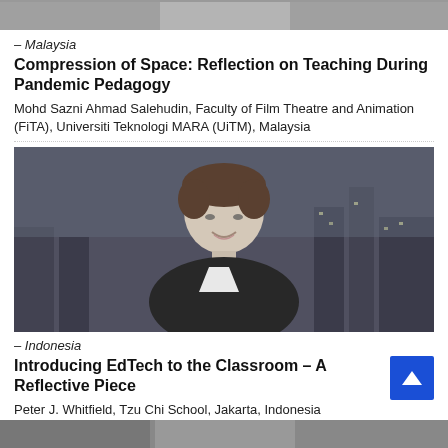[Figure (photo): Partial photo of a person at top of page (cropped)]
– Malaysia
Compression of Space: Reflection on Teaching During Pandemic Pedagogy
Mohd Sazni Ahmad Salehudin, Faculty of Film Theatre and Animation (FiTA), Universiti Teknologi MARA (UiTM), Malaysia
[Figure (photo): Black and white portrait photo of a man smiling with city skyline at night in background]
– Indonesia
Introducing EdTech to the Classroom – A Reflective Piece
Peter J. Whitfield, Tzu Chi School, Jakarta, Indonesia
[Figure (photo): Partial photo at bottom of page (cropped)]